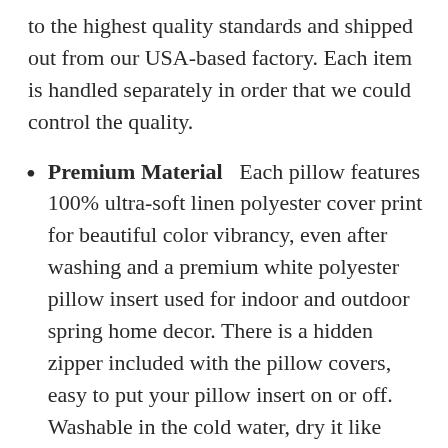to the highest quality standards and shipped out from our USA-based factory. Each item is handled separately in order that we could control the quality.
Premium Material   Each pillow features 100% ultra-soft linen polyester cover print for beautiful color vibrancy, even after washing and a premium white polyester pillow insert used for indoor and outdoor spring home decor. There is a hidden zipper included with the pillow covers, easy to put your pillow insert on or off. Washable in the cold water, dry it like other daily things, color would not fade.
Sizes   Our Pillows with 4 sizes: